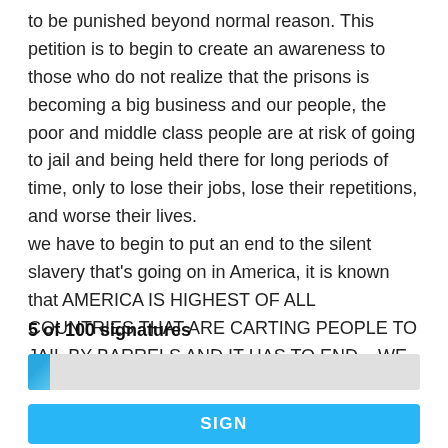to be punished beyond normal reason. This petition is to begin to create an awareness to those who do not realize that the prisons is becoming a big business and our people, the poor and middle class people are at risk of going to jail and being held there for long periods of time, only to lose their jobs, lose their repetitions, and worse their lives.
we have to begin to put an end to the silent slavery that's going on in America, it is known that AMERICA IS HIGHEST OF ALL COUNTRIES THAT ARE CARTING PEOPLE TO JAIL BY BARRELS AND IT HAS TO END... WE HAVE TO BRING BACK
5 of 100 signatures
[Figure (other): Progress bar showing approximately 5% completion (5 of 100 signatures), with a small blue filled section on the left of a grey bar.]
SIGN